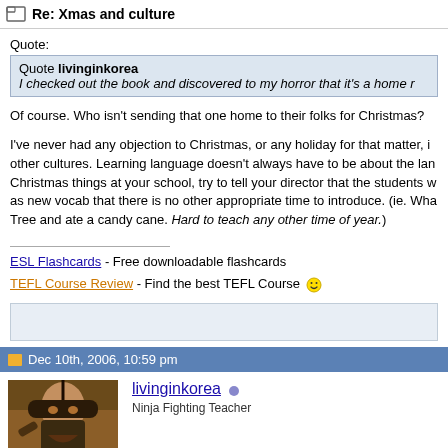Re: Xmas and culture
Quote:
Quote livinginkorea
I checked out the book and discovered to my horror that it's a home r
Of course. Who isn't sending that one home to their folks for Christmas?
I've never had any objection to Christmas, or any holiday for that matter, in other cultures. Learning language doesn't always have to be about the language. Christmas things at your school, try to tell your director that the students w as new vocab that there is no other appropriate time to introduce. (ie. Wha Tree and ate a candy cane. Hard to teach any other time of year.)
ESL Flashcards - Free downloadable flashcards
TEFL Course Review - Find the best TEFL Course
Dec 10th, 2006, 10:59 pm
[Figure (photo): User avatar showing a ninja/warrior figure with dark artistic illustration]
livinginkorea
Ninja Fighting Teacher